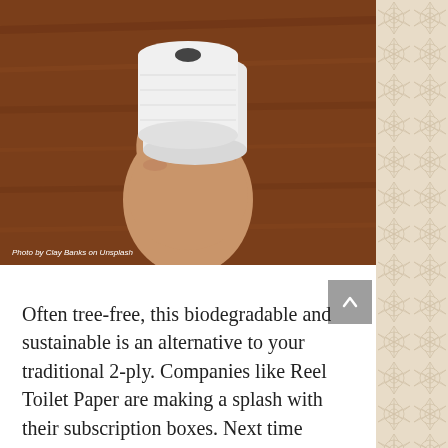[Figure (photo): A hand holding two rolls of white toilet paper against a wooden background.]
Photo by Clay Banks on Unsplash
Often tree-free, this biodegradable and sustainable is an alternative to your traditional 2-ply. Companies like Reel Toilet Paper are making a splash with their subscription boxes. Next time